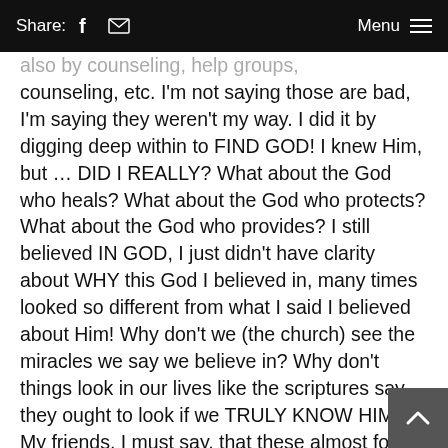Share:  [facebook]  [mail]    Menu  ≡
...also by counseling, help groups, counseling, etc. I'm not saying those are bad, I'm saying they weren't my way. I did it by digging deep within to FIND GOD! I knew Him, but … DID I REALLY? What about the God who heals? What about the God who protects? What about the God who provides? I still believed IN GOD, I just didn't have clarity about WHY this God I believed in, many times looked so different from what I said I believed about Him! Why don't we (the church) see the miracles we say we believe in? Why don't things look in our lives like the scriptures say they ought to look if we TRULY KNOW HIM? My friends, I must say, that these almost four years have been a journey I previously had no idea about! Like Job, I can say … "I thought I knew you,